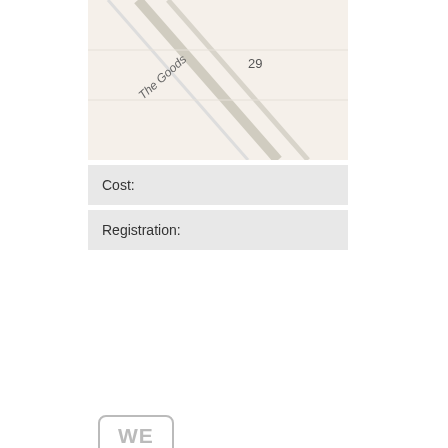[Figure (map): Partial map view showing 'The Goods' label and number 29, diagonal lines suggesting a map/diagram]
Cost:
Registration:
WE
Progra
| Time |  |
| --- | --- |
| 9:00 - 9:30
(30 mins) |  |
| 9:30 - 9:45 (15 mins) |  |